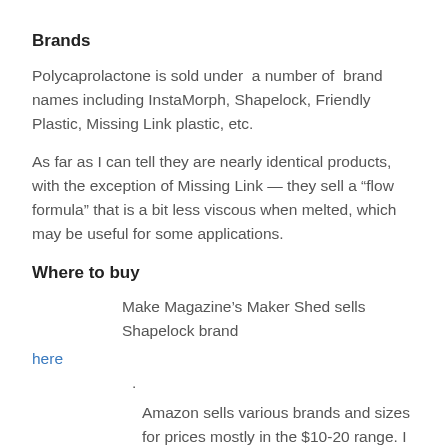Brands
Polycaprolactone is sold under  a number of  brand names including InstaMorph, Shapelock, Friendly Plastic, Missing Link plastic, etc.
As far as I can tell they are nearly identical products, with the exception of Missing Link — they sell a “flow formula” that is a bit less viscous when melted, which may be useful for some applications.
Where to buy
Make Magazine’s Maker Shed sells Shapelock brand
here
.
Amazon sells various brands and sizes for prices mostly in the $10-20 range. I found that the best way to find